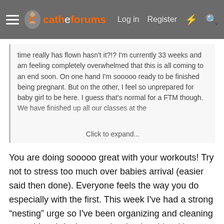≡  cathe forums  Log in  Register  ⚡  🔍
time really has flown hasn't it?!? I'm currently 33 weeks and am feeling completely overwhelmed that this is all coming to an end soon. On one hand I'm sooooo ready to be finished being pregnant. But on the other, I feel so unprepared for baby girl to be here. I guess that's normal for a FTM though. We have finished up all our classes at the...  Click to expand...
You are doing sooooo great with your workouts! Try not to stress too much over babies arrival (easier said then done). Everyone feels the way you do especially with the first. This week I've had a strong "nesting" urge so I've been organizing and cleaning everything. I don't remember having this with my first. Only 8 more days! I can't believe it. I'm having low back and pelvic discomfort if I do too much on my feet. Not much sleeping going on either. Just been trying to snuggle my little girl as much as I can before her baby brother arrives. I'm lucky to have my mom 5 minutes away to help take her if I'm feeling to exhausted. We have been living in the pool as being in the water makes me feel better. I would love to keep up with this checkin! It's nice to chat